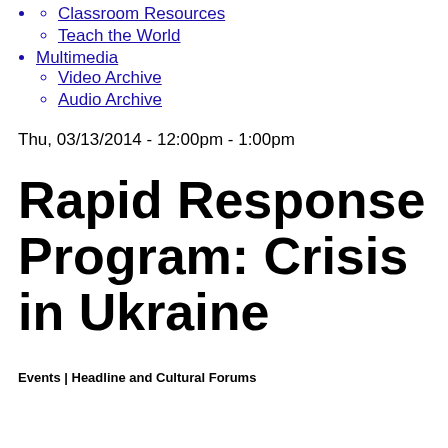Classroom Resources
Teach the World
Multimedia
Video Archive
Audio Archive
Thu, 03/13/2014 - 12:00pm - 1:00pm
Rapid Response Program: Crisis in Ukraine
Events | Headline and Cultural Forums